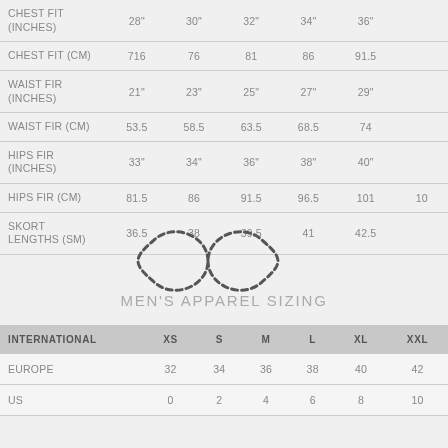|  | 28" | 30" | 32" | 34" | 36" | ... |
| --- | --- | --- | --- | --- | --- | --- |
| CHEST FIT (INCHES) | 28" | 30" | 32" | 34" | 36" | ... |
| CHEST FIT (CM) | 716 | 76 | 81 | 86 | 91.5 | ... |
| WAIST FIR (INCHES) | 21" | 23" | 25" | 27" | 29" | ... |
| WAIST FIR (CM) | 53.5 | 58.5 | 63.5 | 68.5 | 74 |  |
| HIPS FIR (INCHES) | 33" | 34" | 36" | 38" | 40" | ... |
| HIPS FIR (CM) | 81.5 | 86 | 91.5 | 96.5 | 101 | 10... |
| SKORT LENGTHS (SM) | 36.5 | 38 | 39.5 | 41 | 42.5 |  |
[Figure (illustration): Infinity symbol made of dashed lines overlaid on the table]
MEN'S APPAREL SIZING
| INTERNATIONAL | XS | S | M | L | XL | XXL |
| --- | --- | --- | --- | --- | --- | --- |
| EUROPE | 32 | 34 | 36 | 38 | 40 | 42 |
| US | 0 | 2 | 4 | 6 | 8 | 10 |